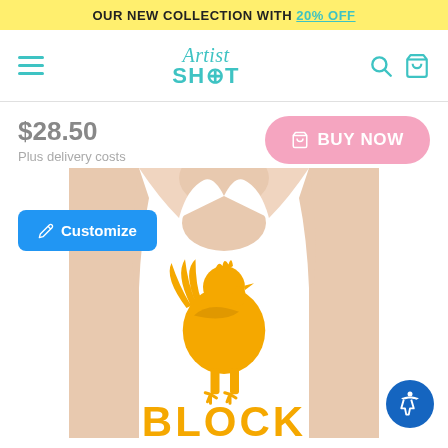OUR NEW COLLECTION WITH 20% OFF
[Figure (logo): ArtistShot logo with hamburger menu, search and cart icons in teal]
$28.50
Plus delivery costs
BUY NOW
[Figure (photo): Man wearing a white tank top with a golden rooster silhouette and the word BLOCK in yellow, with a Customize button and accessibility button overlay]